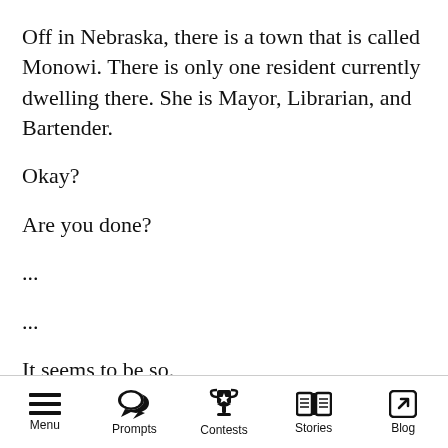Off in Nebraska, there is a town that is called Monowi. There is only one resident currently dwelling there. She is Mayor, Librarian, and Bartender.
Okay?
Are you done?
...
...
It seems to be so.
Now I will continue with the tale-
-SHELBI FUN FACT #13
Menu  Prompts  Contests  Stories  Blog